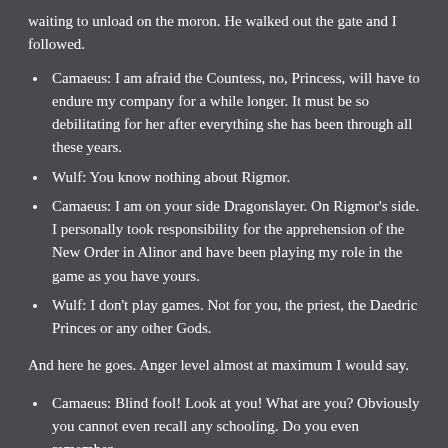waiting to unload on the moron. He walked out the gate and I followed.
Camaeus: I am afraid the Countess, no, Princess, will have to endure my company for a while longer. It must be so debilitating for her after everything she has been through all these years.
Wulf: You know nothing about Rigmor.
Camaeus: I am on your side Dragonslayer. On Rigmor's side. I personally took responsibility for the apprehension of the New Order in Alinor and have been playing my role in the game as you have yours.
Wulf: I don't play games. Not for you, the priest, the Daedric Princes or any other Gods.
And here he goes. Anger level almost at maximum I would say.
Camaeus: Blind fool! Look at you! What are you? Obviously you cannot even recall any schooling. Do you even remember